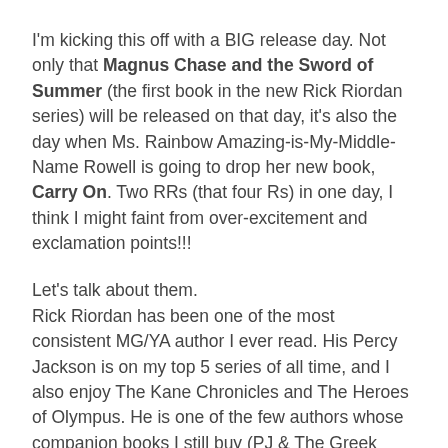I'm kicking this off with a BIG release day. Not only that Magnus Chase and the Sword of Summer (the first book in the new Rick Riordan series) will be released on that day, it's also the day when Ms. Rainbow Amazing-is-My-Middle-Name Rowell is going to drop her new book, Carry On. Two RRs (that four Rs) in one day, I think I might faint from over-excitement and exclamation points!!!
Let's talk about them.
Rick Riordan has been one of the most consistent MG/YA author I ever read. His Percy Jackson is on my top 5 series of all time, and I also enjoy The Kane Chronicles and The Heroes of Olympus. He is one of the few authors whose companion books I still buy (PJ & The Greek Heroes, PJ & The Greek Gods, etc).
Rainbow Rowell, man, I would run of adjective to